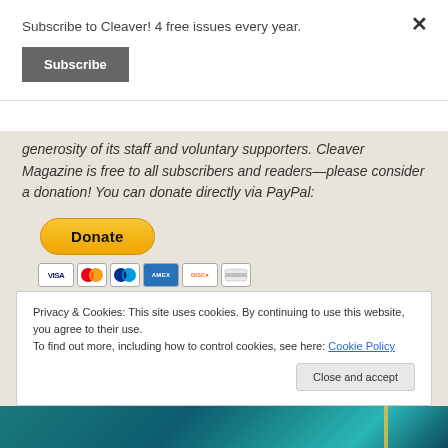Subscribe to Cleaver! 4 free issues every year.
[Figure (screenshot): Subscribe button — dark gray rectangular button with white bold text 'Subscribe']
generosity of its staff and voluntary supporters. Cleaver Magazine is free to all subscribers and readers—please consider a donation! You can donate directly via PayPal:
[Figure (screenshot): PayPal Donate button — gold/yellow pill-shaped button with bold text 'Donate', below it a row of payment card icons: Visa, Mastercard, PayPal, American Express, Discover, and another card]
Privacy & Cookies: This site uses cookies. By continuing to use this website, you agree to their use.
To find out more, including how to control cookies, see here: Cookie Policy
[Figure (screenshot): Close and accept button — light gray rounded button at bottom right of cookie notice]
[Figure (photo): Partial teal/dark cyan image strip at the very bottom of the page with a yellow accent streak]